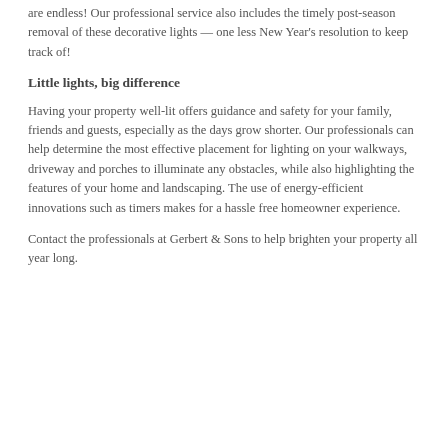are endless! Our professional service also includes the timely post-season removal of these decorative lights — one less New Year's resolution to keep track of!
Little lights, big difference
Having your property well-lit offers guidance and safety for your family, friends and guests, especially as the days grow shorter. Our professionals can help determine the most effective placement for lighting on your walkways, driveway and porches to illuminate any obstacles, while also highlighting the features of your home and landscaping. The use of energy-efficient innovations such as timers makes for a hassle free homeowner experience.
Contact the professionals at Gerbert & Sons to help brighten your property all year long.